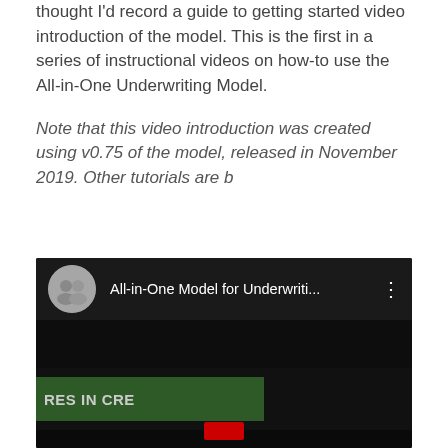thought I'd record a guide to getting started video introduction of the model. This is the first in a series of instructional videos on how-to use the All-in-One Underwriting Model.
Note that this video introduction was created using v0.75 of the model, released in November 2019. Other tutorials are b
[Figure (screenshot): A YouTube video card showing 'All-in-One Model for Underwriti...' with a circular avatar photo of two people, a three-dot menu icon, and a dark video thumbnail with a green banner reading 'RES IN CRE' and a red button at the bottom.]